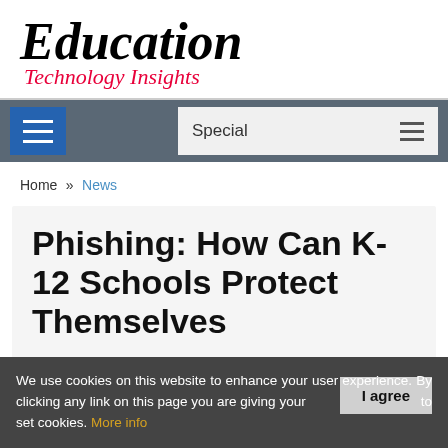Education Technology Insights
Home » News
Phishing: How Can K-12 Schools Protect Themselves
Education Technology Insights | Monday, July 29, 2019
We use cookies on this website to enhance your user experience. By clicking any link on this page you are giving your consent to set cookies. More info